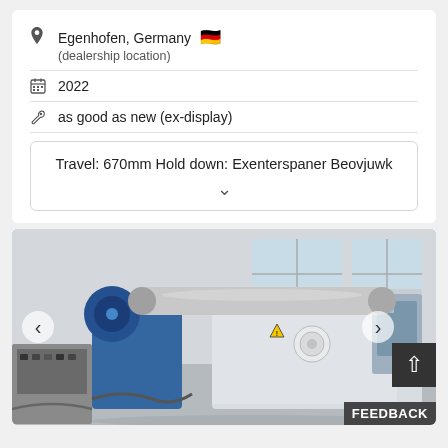Egenhofen, Germany 🇩🇪
(dealership location)
2022
as good as new (ex-display)
Travel: 670mm Hold down: Exenterspaner Beovjuwk
[Figure (photo): Industrial plate rolling machine (roll bending machine) in a workshop/factory setting. The machine is large, blue and grey/white in color, with visible rollers and a control panel on the right side. The machine occupies most of the frame.]